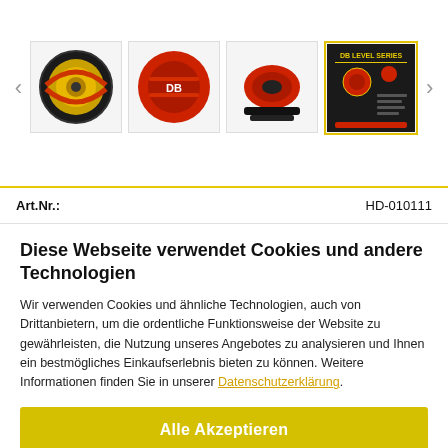[Figure (photo): Product image carousel showing 4 thumbnails of a red/black car speaker (subwoofer). First thumbnail shows front view with yellow cone, second shows back in red case, third shows side view, fourth shows product spec sheet. Left and right navigation arrows are visible.]
| Art.Nr.: | HD-010111 |
| --- | --- |
Diese Webseite verwendet Cookies und andere Technologien
Wir verwenden Cookies und ähnliche Technologien, auch von Drittanbietern, um die ordentliche Funktionsweise der Website zu gewährleisten, die Nutzung unseres Angebotes zu analysieren und Ihnen ein bestmögliches Einkaufserlebnis bieten zu können. Weitere Informationen finden Sie in unserer Datenschutzerklärung.
Alle Akzeptieren
Weitere Informationen